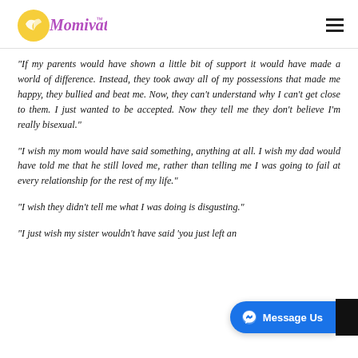Momivate
“If my parents would have shown a little bit of support it would have made a world of difference. Instead, they took away all of my possessions that made me happy, they bullied and beat me. Now, they can’t understand why I can’t get close to them. I just wanted to be accepted. Now they tell me they don’t believe I’m really bisexual.”
“I wish my mom would have said something, anything at all. I wish my dad would have told me that he still loved me, rather than telling me I was going to fail at every relationship for the rest of my life.”
“I wish they didn’t tell me what I was doing is disgusting.”
“I just wish my sister wouldn’t have said ‘you just left an